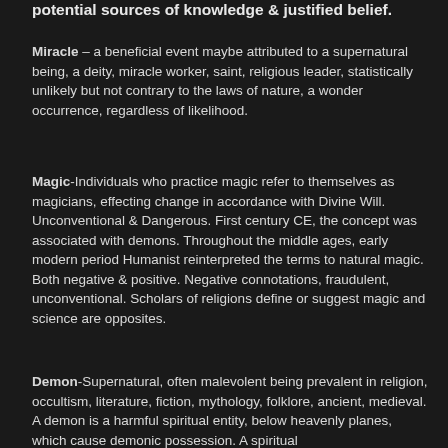potential sources of knowledge & justified belief.
Miracle – a beneficial event maybe attributed to a supernatural being, a deity, miracle worker, saint, religious leader, statistically unlikely but not contrary to the laws of nature, a wonder occurrence, regardless of likelihood.
Magic-Individuals who practice magic refer to themselves as magicians, effecting change in accordance with Divine Will. Unconventional & Dangerous. First century CE, the concept was associated with demons. Throughout the middle ages, early modern period Humanist reinterpreted the terms to natural magic. Both negative & positive. Negative connotations, fraudulent, unconventional. Scholars of religions define or suggest magic and science are opposites.
Demon-Supernatural, often malevolent being prevalent in religion, occultism, literature, fiction, mythology, folklore, ancient, medieval. A demon is a harmful spiritual entity, below heavenly planes, which cause demonic possession. A spiritual